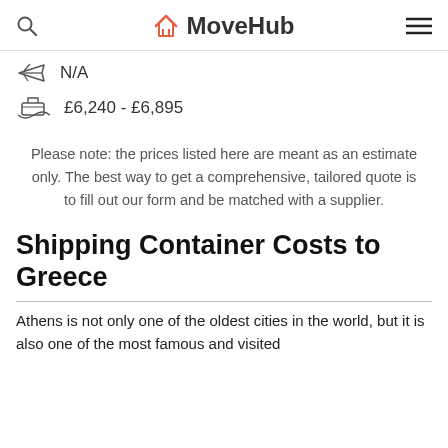MoveHub
N/A
£6,240 - £6,895
Please note: the prices listed here are meant as an estimate only. The best way to get a comprehensive, tailored quote is to fill out our form and be matched with a supplier.
Shipping Container Costs to Greece
Athens is not only one of the oldest cities in the world, but it is also one of the most famous and visited